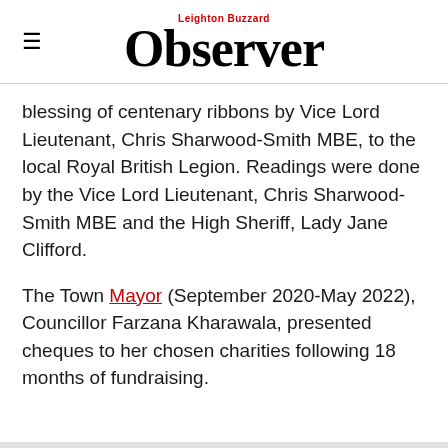Leighton Buzzard Observer
blessing of centenary ribbons by Vice Lord Lieutenant, Chris Sharwood-Smith MBE, to the local Royal British Legion. Readings were done by the Vice Lord Lieutenant, Chris Sharwood-Smith MBE and the High Sheriff, Lady Jane Clifford.
The Town Mayor (September 2020-May 2022), Councillor Farzana Kharawala, presented cheques to her chosen charities following 18 months of fundraising.